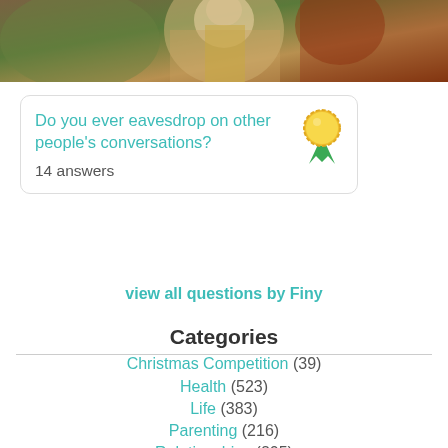[Figure (photo): Cropped painting/photo showing figures, appears to be classical painting with warm tones]
Do you ever eavesdrop on other people's conversations?
14 answers
view all questions by Finy
Categories
Christmas Competition (39)
Health (523)
Life (383)
Parenting (216)
Relationships (205)
Beauty (142)